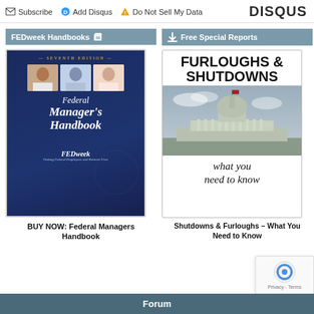Subscribe  Add Disqus  Do Not Sell My Data   DISQUS
FEDweek Handbooks
Free Special Reports
[Figure (illustration): Cover of Federal Manager's Handbook, Seventh Edition, FEDweek publication, showing three professional headshots and italic serif title text on dark navy background]
BUY NOW: Federal Managers Handbook
[Figure (illustration): Cover of Furloughs & Shutdowns free special report showing bold black title text, a sepia photo of the US Capitol building, and italic handwritten-style subtitle 'what you need to know']
Shutdowns & Furloughs – What You Need to Know
Forum